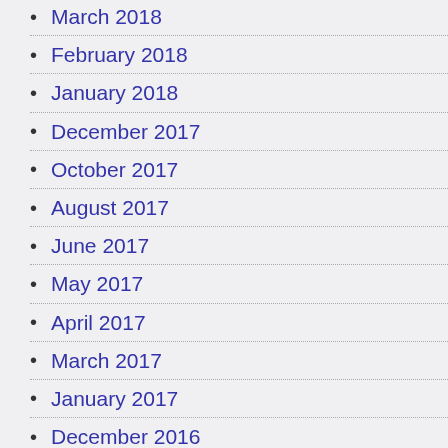March 2018
February 2018
January 2018
December 2017
October 2017
August 2017
June 2017
May 2017
April 2017
March 2017
January 2017
December 2016
November 2016
October 2016
September 2016